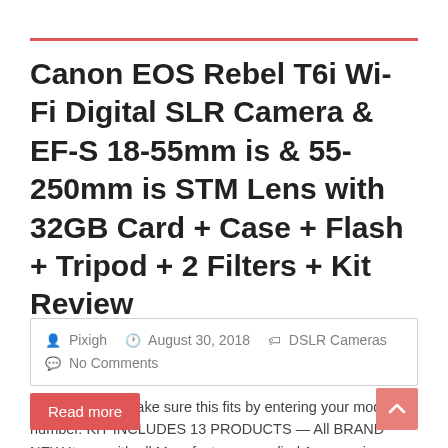Canon EOS Rebel T6i Wi-Fi Digital SLR Camera & EF-S 18-55mm is & 55-250mm is STM Lens with 32GB Card + Case + Flash + Tripod + 2 Filters + Kit Review
Pixigh  August 30, 2018  DSLR Cameras  No Comments
This fits your . Make sure this fits by entering your model number. KIT INCLUDES 13 PRODUCTS — All BRAND NEW Items with all Manufacturer-supplied Accessories + Full USA Warranties: [1] Canon EOS Rebel T6i Wi-Fi Digital SLR Camera & EF-S...